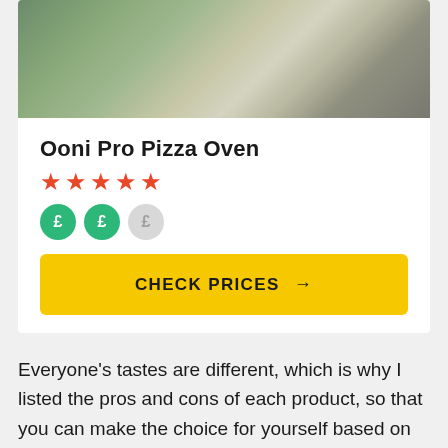[Figure (photo): Photo of the Ooni Pro Pizza Oven outdoors on a wooden surface with greenery in the background]
Ooni Pro Pizza Oven
★★★★★ (5 star rating)
£ £ £ (price icons — two active green, one inactive grey)
CHECK PRICES →
Everyone's tastes are different, which is why I listed the pros and cons of each product, so that you can make the choice for yourself based on what features are most important to you. Maybe you value a lightweight, portable oven for traveling to family cookouts. Or you might want a beginner